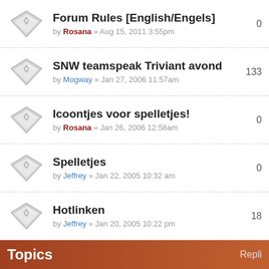Forum Rules [English/Engels] by Rosana » Aug 15, 2011 3:55pm
SNW teamspeak Triviant avond by Mogway » Jan 27, 2006 11:57am | 133
Icoontjes voor spelletjes! by Rosana » Jan 26, 2006 12:58am | 0
Spelletjes by Jeffrey » Jan 22, 2005 10:32 am | 0
Hotlinken by Jeffrey » Jan 20, 2005 10:22 pm | 18
Topics   Repli
Chit chat topic! by Jean » Aug 26, 2011 11:35pm | 146